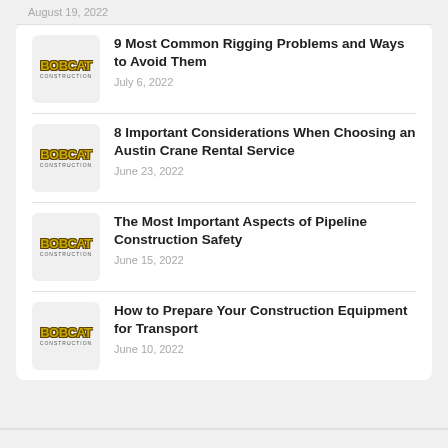August 19, 2022
9 Most Common Rigging Problems and Ways to Avoid Them
July 6, 2022
8 Important Considerations When Choosing an Austin Crane Rental Service
June 23, 2022
The Most Important Aspects of Pipeline Construction Safety
June 15, 2022
How to Prepare Your Construction Equipment for Transport
June 10, 2022